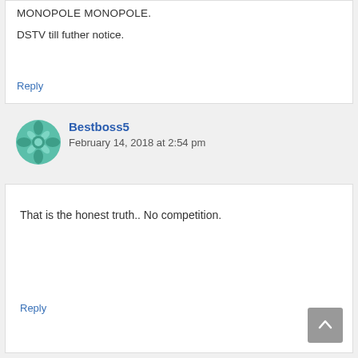MONOPOLE MONOPOLE.
DSTV till futher notice.
Reply
Bestboss5
February 14, 2018 at 2:54 pm
That is the honest truth.. No competition.
Reply